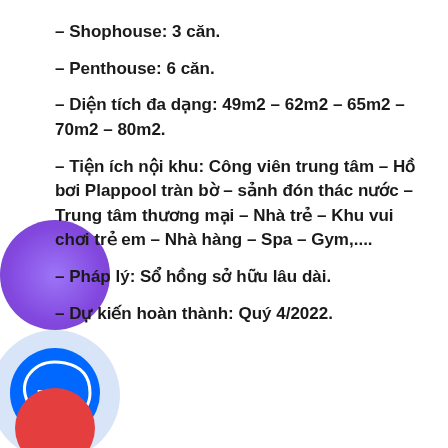– Shophouse: 3 căn.
– Penthouse: 6 căn.
– Diện tích đa dạng: 49m2 – 62m2 – 65m2 – 70m2 – 80m2.
– Tiện ích nội khu: Công viên trung tâm – Hồ bơi Plappool tràn bờ – sảnh đón thác nước – Trung tâm thương mại – Nhà trẻ – Khu vui chơi trẻ em – Nhà hàng – Spa – Gym,....
– Pháp lý: Sổ hồng sở hữu lâu dài.
– Dự kiến hoàn thành: Quý 4/2022.